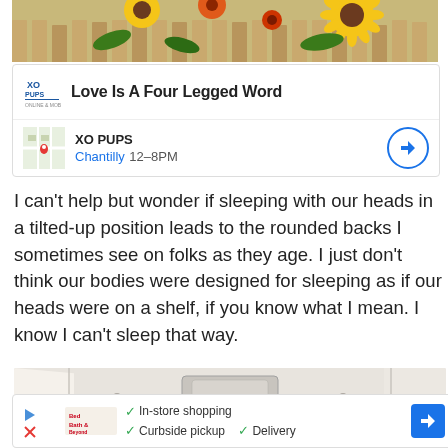[Figure (photo): Sunflowers and colorful flowers in front of a wooden fence, top portion visible]
[Figure (screenshot): XO Pups ad card showing logo with 'Love Is A Four Legged Word' tagline, location map thumbnail, XO PUPS name, Chantilly 12-8PM, and navigation button]
I can't help but wonder if sleeping with our heads in a tilted-up position leads to the rounded backs I sometimes see on folks as they age. I just don't think our bodies were designed for sleeping as if our heads were on a shelf, if you know what I mean. I know I can't sleep that way.
[Figure (photo): Close-up of a white cardboard box with a metallic handle/clasp on top, viewed from above at an angle]
[Figure (screenshot): Bottom ad bar showing a store logo, checkmarks for In-store shopping, Curbside pickup, Delivery, and a blue navigation arrow button]